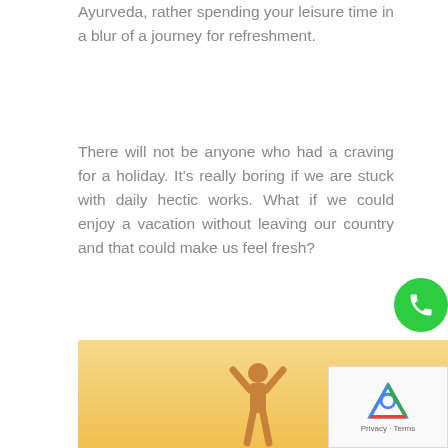Ayurveda, rather spending your leisure time in a blur of a journey for refreshment.
There will not be anyone who had a craving for a holiday. It's really boring if we are stuck with daily hectic works. What if we could enjoy a vacation without leaving our country and that could make us feel fresh?
Health is the greatest bestow we ever get from our mother nature. Make it delightful with the aesthetic power of Ayurveda. Plan at least some hours for a refreshing staycation in your homeland.
[Figure (photo): Person with arms raised in a sunny warm-toned background, suggesting joy and wellness]